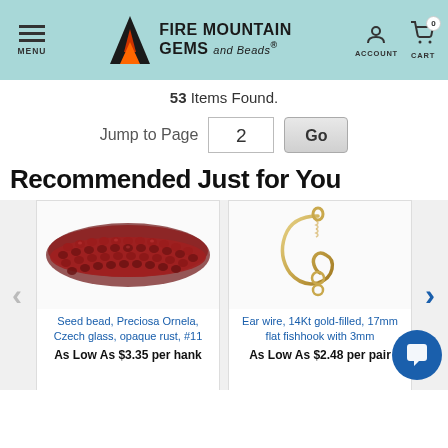Fire Mountain Gems and Beads — MENU | ACCOUNT | CART 0
53 Items Found.
Jump to Page  2  Go
Recommended Just for You
[Figure (photo): Seed bead, Preciosa Ornela, Czech glass, opaque rust, #11 — bundle of dark red/rust colored seed beads]
Seed bead, Preciosa Ornela, Czech glass, opaque rust, #11
As Low As $3.35 per hank
[Figure (photo): Ear wire, 14Kt gold-filled, 17mm flat fishhook with 3mm — gold fishhook ear wire]
Ear wire, 14Kt gold-filled, 17mm flat fishhook with 3mm
As Low As $2.48 per pair